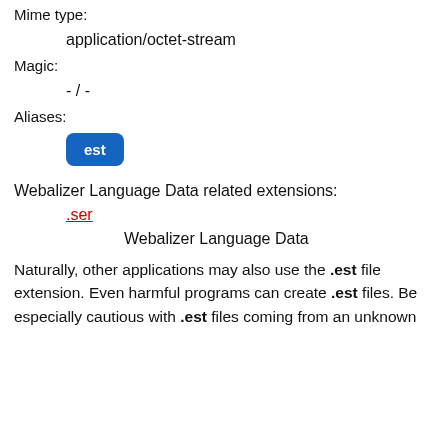Mime type:
application/octet-stream
Magic:
- / -
Aliases:
est
Webalizer Language Data related extensions:
.ser
Webalizer Language Data
Naturally, other applications may also use the .est file extension. Even harmful programs can create .est files. Be especially cautious with .est files coming from an unknown